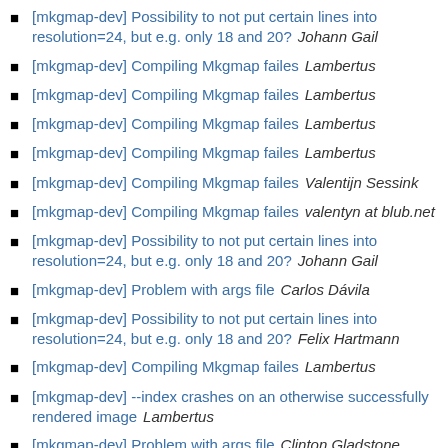[mkgmap-dev] Possibility to not put certain lines into resolution=24, but e.g. only 18 and 20?   Johann Gail
[mkgmap-dev] Compiling Mkgmap failes   Lambertus
[mkgmap-dev] Compiling Mkgmap failes   Lambertus
[mkgmap-dev] Compiling Mkgmap failes   Lambertus
[mkgmap-dev] Compiling Mkgmap failes   Lambertus
[mkgmap-dev] Compiling Mkgmap failes   Valentijn Sessink
[mkgmap-dev] Compiling Mkgmap failes   valentyn at blub.net
[mkgmap-dev] Possibility to not put certain lines into resolution=24, but e.g. only 18 and 20?   Johann Gail
[mkgmap-dev] Problem with args file   Carlos Dávila
[mkgmap-dev] Possibility to not put certain lines into resolution=24, but e.g. only 18 and 20?   Felix Hartmann
[mkgmap-dev] Compiling Mkgmap failes   Lambertus
[mkgmap-dev] --index crashes on an otherwise successfully rendered image   Lambertus
[mkgmap-dev] Problem with args file   Clinton Gladstone
[mkgmap-dev] Possibility to not put certain lines into